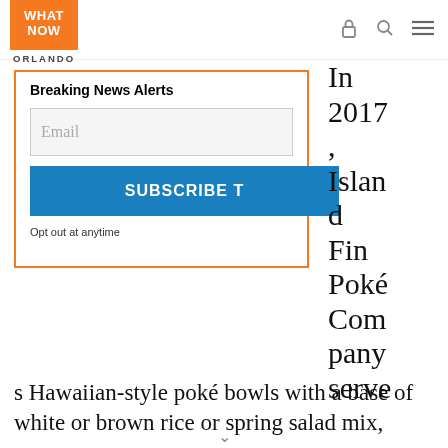WHAT NOW ORLANDO
Breaking News Alerts
Email
SUBSCRIBE T
Opt out at anytime
In 2017, Island Fin Poké Company serves Hawaiian-style poké bowls with a base of white or brown rice or spring salad mix,